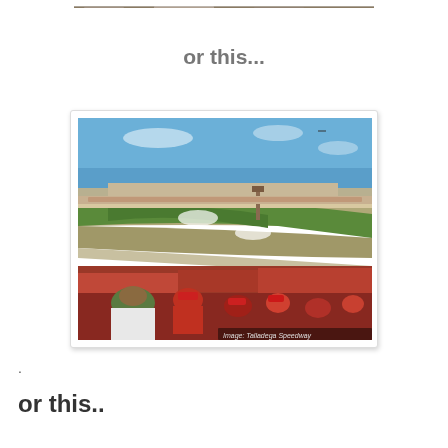[Figure (photo): Partial top edge of a photo visible at top of page]
or this...
[Figure (photo): Aerial/elevated view of Talladega Speedway NASCAR race, showing the oval track, infield, grandstands packed with spectators in the foreground. Image credit: Talladega Speedway]
.
or this..